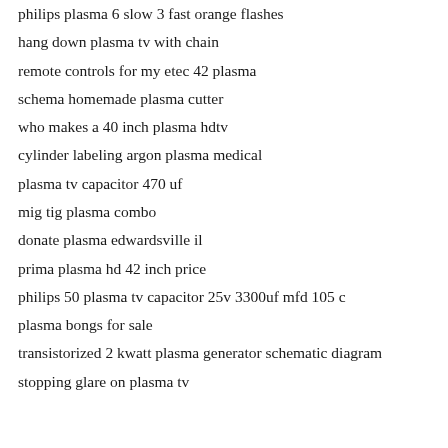philips plasma 6 slow 3 fast orange flashes
hang down plasma tv with chain
remote controls for my etec 42 plasma
schema homemade plasma cutter
who makes a 40 inch plasma hdtv
cylinder labeling argon plasma medical
plasma tv capacitor 470 uf
mig tig plasma combo
donate plasma edwardsville il
prima plasma hd 42 inch price
philips 50 plasma tv capacitor 25v 3300uf mfd 105 c
plasma bongs for sale
transistorized 2 kwatt plasma generator schematic diagram
stopping glare on plasma tv